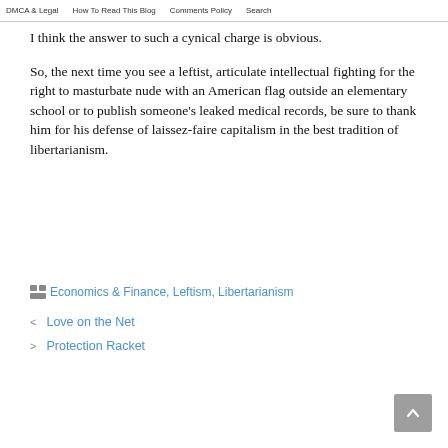DMCA & Legal  How To Read This Blog  Comments Policy  Search
I think the answer to such a cynical charge is obvious.
So, the next time you see a leftist, articulate intellectual fighting for the right to masturbate nude with an American flag outside an elementary school or to publish someone's leaked medical records, be sure to thank him for his defense of laissez-faire capitalism in the best tradition of libertarianism.
Economics & Finance, Leftism, Libertarianism
< Love on the Net
> Protection Racket